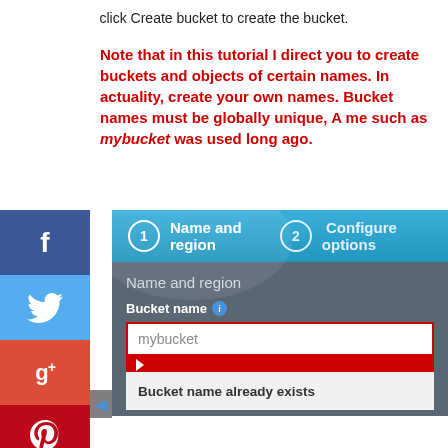click Create bucket to create the bucket.
Note that in this tutorial I direct you to create buckets and objects of certain names. In actuality, create your own names. Bucket names must be globally unique, A name such as mybucket was used long ago.
[Figure (screenshot): AWS S3 Create Bucket dialog showing steps: 1 Name and region, 2 Configure options. Form shows Bucket name field with 'mybucket' entered and error 'Bucket name already exists'.]